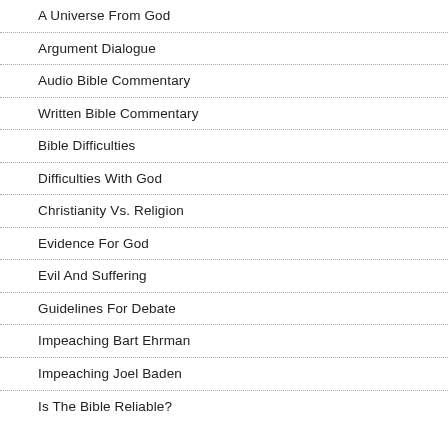A Universe From God
Argument Dialogue
Audio Bible Commentary
Written Bible Commentary
Bible Difficulties
Difficulties With God
Christianity Vs. Religion
Evidence For God
Evil And Suffering
Guidelines For Debate
Impeaching Bart Ehrman
Impeaching Joel Baden
Is The Bible Reliable?